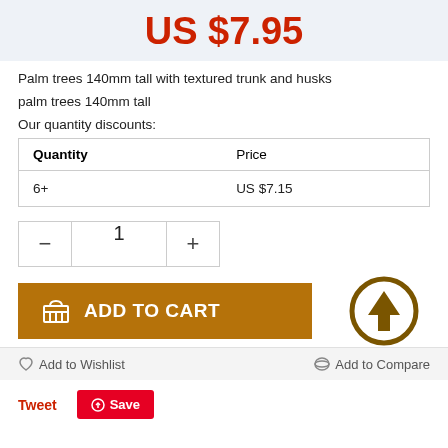US $7.95
Palm trees 140mm tall with textured trunk and husks
palm trees 140mm tall
Our quantity discounts:
| Quantity | Price |
| --- | --- |
| 6+ | US $7.15 |
1
ADD TO CART
Add to Wishlist
Add to Compare
Tweet
Save